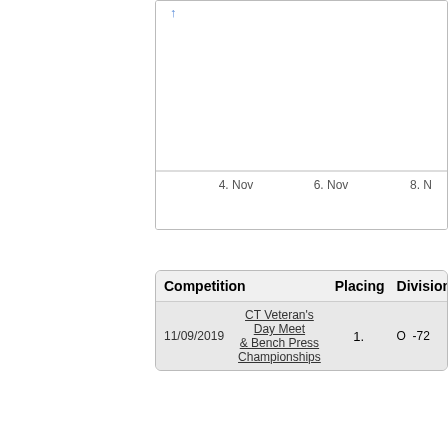[Figure (continuous-plot): Partial line chart showing data over time, with x-axis labels '4. Nov', '6. Nov', '8. N...' visible at the bottom. A small arrow-like marker is visible at the top left of the chart area.]
| Competition | Placing | Division |
| --- | --- | --- |
| 11/09/2019 | CT Veteran's Day Meet & Bench Press Championships | 1. | O | -72 |